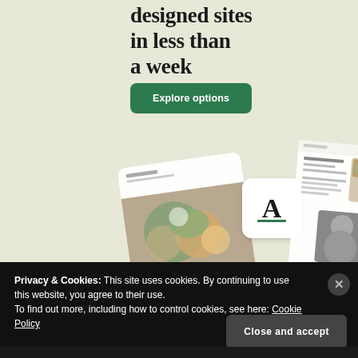designed sites in less than a week
Explore options
[Figure (screenshot): Mobile app/website mockup showing a restaurant website template with food photography, a recipe card interface, and a black-and-white portrait photo. The UI shows a website builder template with an 'A' logo icon.]
Privacy & Cookies: This site uses cookies. By continuing to use this website, you agree to their use.
To find out more, including how to control cookies, see here: Cookie Policy
Close and accept